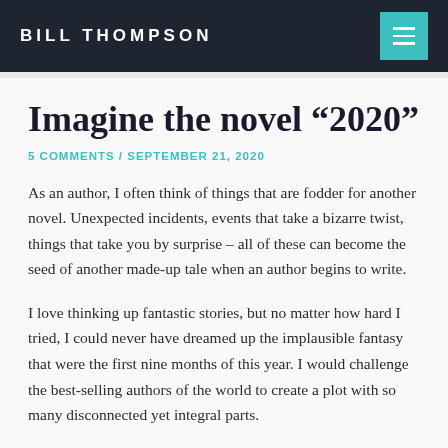BILL THOMPSON
Imagine the novel “2020”
5 COMMENTS / SEPTEMBER 21, 2020
As an author, I often think of things that are fodder for another novel. Unexpected incidents, events that take a bizarre twist, things that take you by surprise – all of these can become the seed of another made-up tale when an author begins to write.
I love thinking up fantastic stories, but no matter how hard I tried, I could never have dreamed up the implausible fantasy that were the first nine months of this year. I would challenge the best-selling authors of the world to create a plot with so many disconnected yet integral parts.